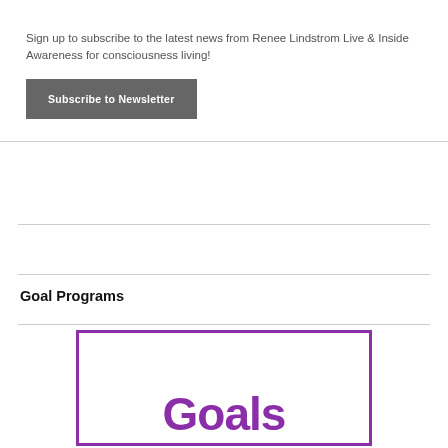Sign up to subscribe to the latest news from Renee Lindstrom Live & Inside Awareness for consciousness living!
Subscribe to Newsletter
Goal Programs
[Figure (illustration): A purple-bordered box containing large bold purple text reading 'Goals']